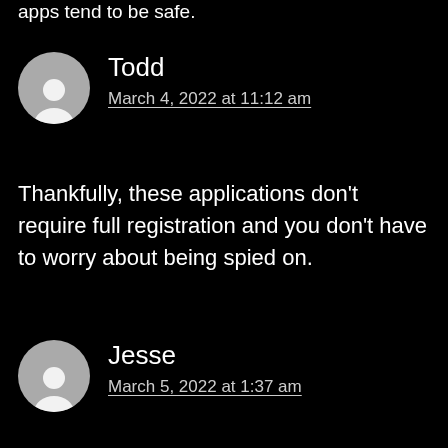apps tend to be safe.
Todd
March 4, 2022 at 11:12 am
Thankfully, these applications don't require full registration and you don't have to worry about being spied on.
Jesse
March 5, 2022 at 1:37 am